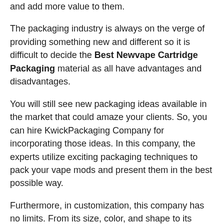and add more value to them.
The packaging industry is always on the verge of providing something new and different so it is difficult to decide the Best Newvape Cartridge Packaging material as all have advantages and disadvantages.
You will still see new packaging ideas available in the market that could amaze your clients. So, you can hire KwickPackaging Company for incorporating those ideas. In this company, the experts utilize exciting packaging techniques to pack your vape mods and present them in the best possible way.
Furthermore, in customization, this company has no limits. From its size, color, and shape to its lamination and coating, you can customize these boxes to their tiniest detail. Don't let your company lose clients that could be won just over just excellent-looking packaging.